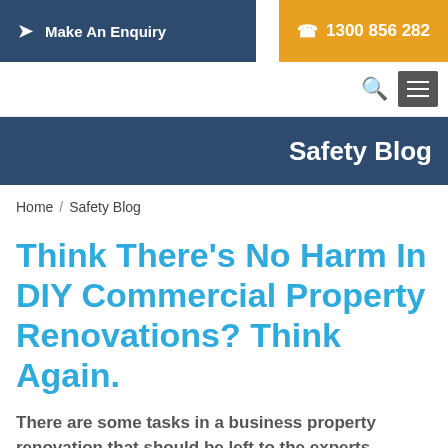Make An Enquiry   1300 856 282
Safety Blog
Home / Safety Blog
Think There's No Harm In DIY Commercial Property Renovations? Think Again.
There are some tasks in a business property renovation that should be left to the experts. Asbestos identification is one of them.